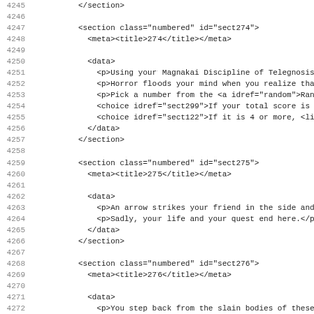Code listing lines 4245-4276 showing XML sections sect274, sect275, sect276